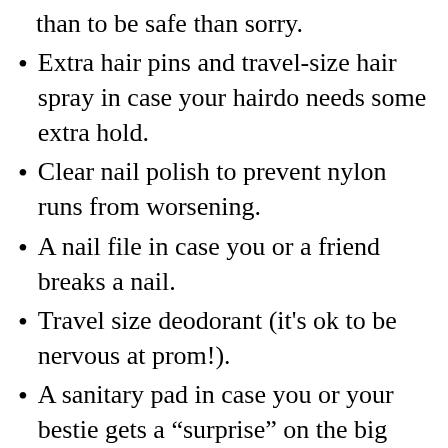than to be safe than sorry.
Extra hair pins and travel-size hair spray in case your hairdo needs some extra hold.
Clear nail polish to prevent nylon runs from worsening.
A nail file in case you or a friend breaks a nail.
Travel size deodorant (it’s ok to be nervous at prom!).
A sanitary pad in case you or your bestie gets a “surprise” on the big night.
Bandages in various sizes in case